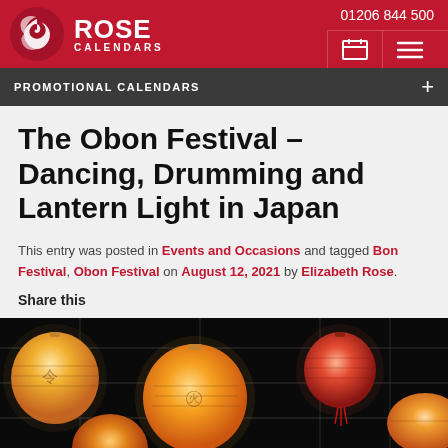Rose Calendars | 01206 844 500
PROMOTIONAL CALENDARS
The Obon Festival – Dancing, Drumming and Lantern Light in Japan
This entry was posted in Events and Occasions and tagged Bon Festival, Obon Festival on August 12, 2021 by Elizabeth Rose.
Share this
[Figure (photo): Glowing paper lanterns of orange, yellow and red hanging from wires against a dark night sky background.]